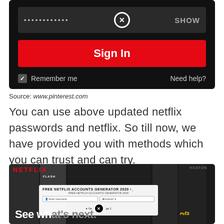[Figure (screenshot): Netflix sign-in screen screenshot showing password field with dots, X clear button, SHOW label, red Sign In button, Remember me checkbox, and Need help? link on dark background]
Source: www.pinterest.com
You can use above updated netflix passwords and netflix. So till now, we have provided you with methods which you can trust and can try.
[Figure (screenshot): Netflix homepage screenshot showing movie grid background with FLASH title visible, a FREE NETFLIX ACCOUNTS GENERATOR 2020 popup overlay with username/Android input fields, X close button, See what's next text, and Pets movie poster on right]